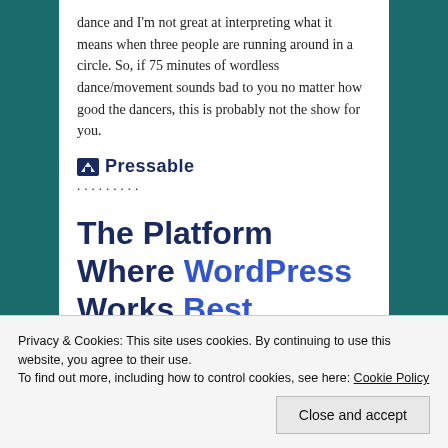dance and I'm not great at interpreting what it means when three people are running around in a circle. So, if 75 minutes of wordless dance/movement sounds bad to you no matter how good the dancers, this is probably not the show for you.
[Figure (logo): Pressable logo with icon and dotted separator line]
The Platform Where WordPress Works Best
[Figure (other): SEE PRICING button (blue)]
Privacy & Cookies: This site uses cookies. By continuing to use this website, you agree to their use.
To find out more, including how to control cookies, see here: Cookie Policy
Close and accept
wordless dance/movement" and your reaction